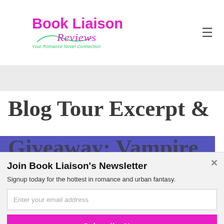[Figure (logo): Book Liaison Reviews logo with pink bold text 'Book Liaison', pink cursive 'Reviews', green italic tagline 'Your Romance Novel Connection']
Blog Tour Excerpt &
Giveaway: Vampire
Join Book Liaison's Newsletter
Signup today for the hottest in romance and urban fantasy.
Enter your email address
Subscribe Now